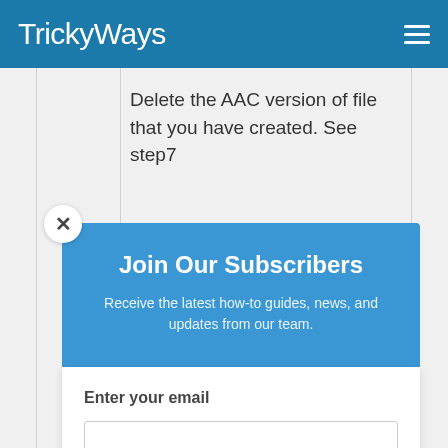TrickyWays
Delete the AAC version of file that you have created. See step7
Join Our Subscribers
Receive the latest how-to guides, news, and updates from our team.
Enter your email
Subscribe